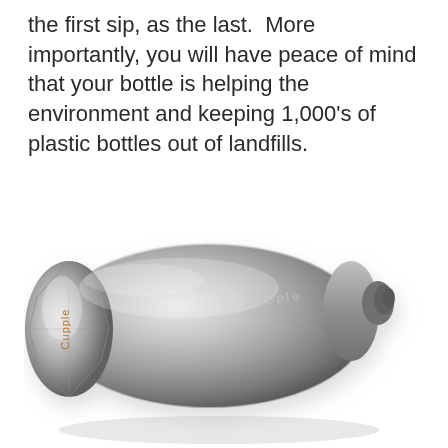the first sip, as the last.  More importantly, you will have peace of mind that your bottle is helping the environment and keeping 1,000’s of plastic bottles out of landfills.
[Figure (photo): A stainless steel reusable water bottle (Cupple brand) shown lying on its side at an angle, displaying the bottom and body of the bottle with a textured geometric base. The Cupple logo is engraved on the bottom face.]